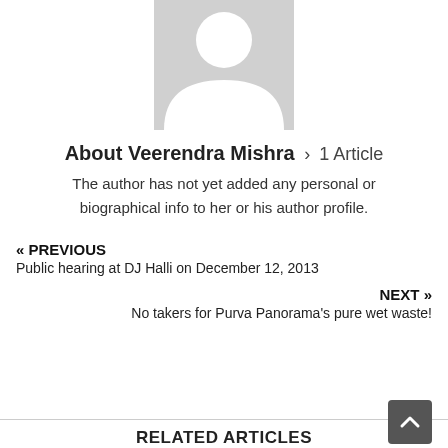[Figure (illustration): Generic grey avatar silhouette of a person, centered at the top of the page]
About Veerendra Mishra › 1 Article
The author has not yet added any personal or biographical info to her or his author profile.
« PREVIOUS
Public hearing at DJ Halli on December 12, 2013
NEXT »
No takers for Purva Panorama's pure wet waste!
RELATED ARTICLES